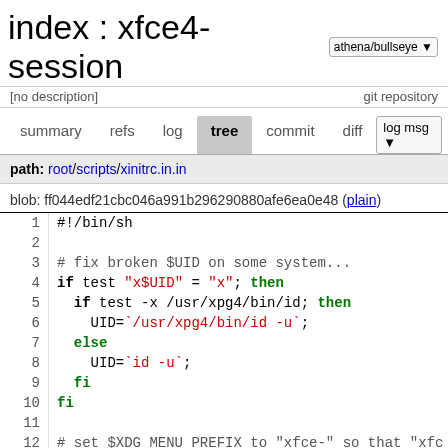index : xfce4-session
[no description]
summary  refs  log  tree  commit  diff
path: root/scripts/xinitrc.in.in
blob: ff044edf21cbc046a991b296290880afe6ea0e48 (plain)
1  #!/bin/sh
2
3  # fix broken $UID on some system...
4  if test "x$UID" = "x"; then
5    if test -x /usr/xpg4/bin/id; then
6      UID=`/usr/xpg4/bin/id -u`;
7    else
8      UID=`id -u`;
9    fi
10 fi
11
12 # set $XDG_MENU_PREFIX to "xfce-" so that "xfc...
13 # over "applications.menu" in all Xfce applica...
14 if test "x$XDG_MENU_PREFIX" = "x"; then
15   XDG_MENU_PREFIX="xfce-"
16   export XDG_MENU_PREFIX